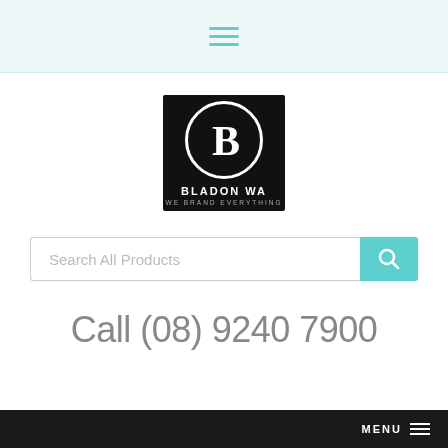[Figure (logo): Hamburger menu icon with three teal horizontal lines on a light teal background header bar]
[Figure (logo): Bladon WA logo: black square background with white circle containing a stylized B letter, text BLADON WA and WE BRAND EVERYTHING below]
[Figure (other): Search bar with placeholder text 'Search All Products' and a teal search button with magnifying glass icon]
Call (08) 9240 7900
MENU